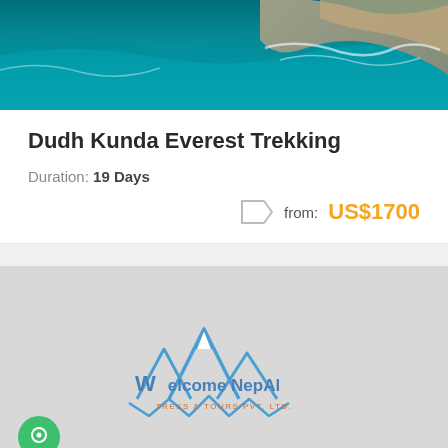[Figure (photo): Aerial photograph of teal-colored ocean water with rocky coastline]
Dudh Kunda Everest Trekking
Duration: 19 Days
from: US$1700
[Figure (logo): Welcome Nepal Treks & Tours Pvt. Ltd. logo with mountain peaks illustration on a grey map background]